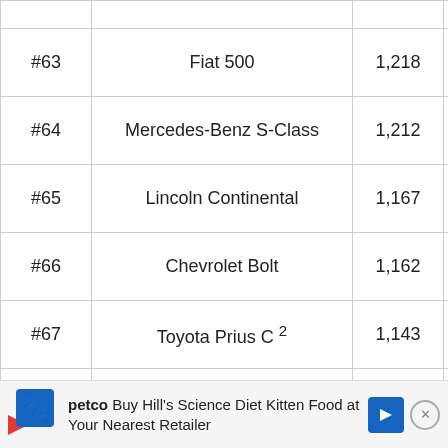| Rank | Model | Sales |
| --- | --- | --- |
| #63 | Fiat 500 | 1,218 |
| #64 | Mercedes-Benz S-Class | 1,212 |
| #65 | Lincoln Continental | 1,167 |
| #66 | Chevrolet Bolt | 1,162 |
| #67 | Toyota Prius C ² | 1,143 |
| #68 | Volkswagen Beetle | 1,081 |
| #69 (partial) | Volkswagen Beetle (partial) |  |
Buy Hill's Science Diet Kitten Food at Your Nearest Retailer (advertisement)